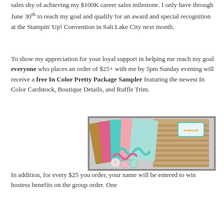sales shy of achieving my $100K career sales milestone. I only have through June 30th to reach my goal and qualify for an award and special recognition at the Stampin' Up! Convention in Salt Lake City next month.
To show my appreciation for your loyal support in helping me reach my goal everyone who places an order of $25+ with me by 5pm Sunday evening will receive a free In Color Pretty Package Sampler featuring the newest In Color Cardstock, Boutique Details, and Ruffle Trim.
[Figure (photo): Photo of an In Color Pretty Package Sampler showing colorful cardstock sheets (gold/brown, pink, teal, light pink, light mint), decorative ruffle trim, buttons, and a chevron-striped kraft bag with a teal label tag.]
In addition, for every $25 you order, your name will be entered to win hostess benefits on the group order. One